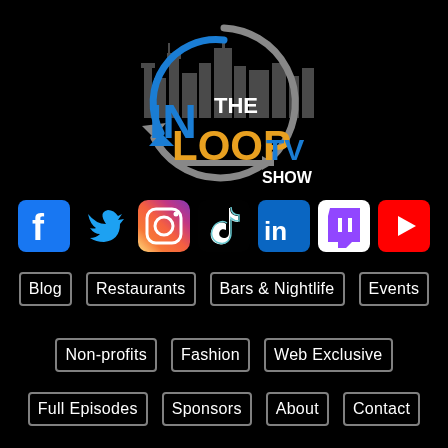[Figure (logo): In The Loop TV Show logo with city skyline silhouette, circular arrow graphic, 'IN' in blue and gray, 'THE' in white, 'LOOP' in orange/gold, 'TV' in blue, 'SHOW' in white]
[Figure (infographic): Row of 7 social media icons: Facebook (blue), Twitter (blue bird), Instagram (gradient), TikTok (black/teal), LinkedIn (blue), Twitch (purple), YouTube (red)]
Blog   Restaurants   Bars & Nightlife   Events
Non-profits   Fashion   Web Exclusive
Full Episodes   Sponsors   About   Contact